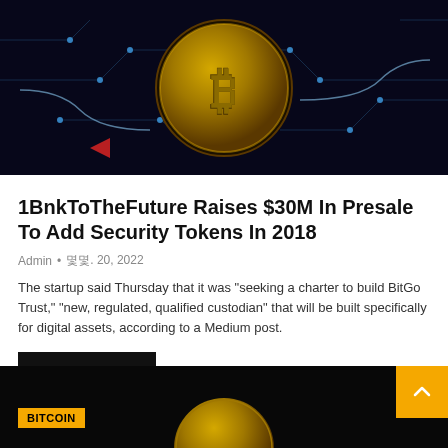[Figure (photo): Dark background image with a gold Bitcoin coin and blue circuit board lines glowing against a dark navy background]
1BnkToTheFuture Raises $30M In Presale To Add Security Tokens In 2018
Admin • 몇몇. 20, 2022
The startup said Thursday that it was "seeking a charter to build BitGo Trust," "new, regulated, qualified custodian" that will be built specifically for digital assets, according to a Medium post.
READ MORE...
[Figure (photo): Bottom card showing a gold Bitcoin coin on a dark background with a BITCOIN label in yellow and a scroll-to-top button]